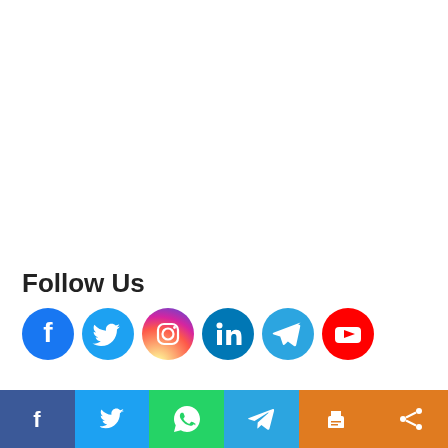Follow Us
[Figure (illustration): Row of 6 social media icons: Facebook (blue circle), Twitter (light blue circle), Instagram (gradient circle), LinkedIn (dark blue circle), Telegram (blue circle), YouTube (red circle)]
Recent Posts
[Figure (illustration): Bottom navigation bar with 6 colored buttons: Facebook (dark blue), Twitter (light blue), WhatsApp (green), Telegram (blue), Print (orange), Share (orange)]